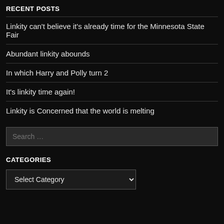RECENT POSTS
Linkity can't believe it's already time for the Minnesota State Fair
Abundant linkity abounds
In which Harry and Polly turn 2
It's linkity time again!
Linkity is Concerned that the world is melting
Search …
CATEGORIES
Select Category